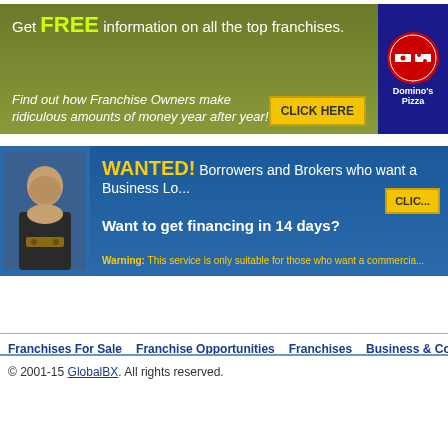[Figure (screenshot): Green banner ad: 'Get FREE information on all the top franchises. Find out how Franchise Owners make ridiculous amounts of money year after year!' with CLICK HERE button and Domino's Pizza logo on right]
[Figure (screenshot): Blue banner ad: 'WANTED! Borrowers and Brokers who want a Business Lo... Want to get financing in 14 days?' with man holding money, CLICK button, and warning text]
Franchises For Sale   Franchise Opportunities   Franchises   Business & Commercial Lo...
© 2001-15 GlobalBX. All rights reserved.